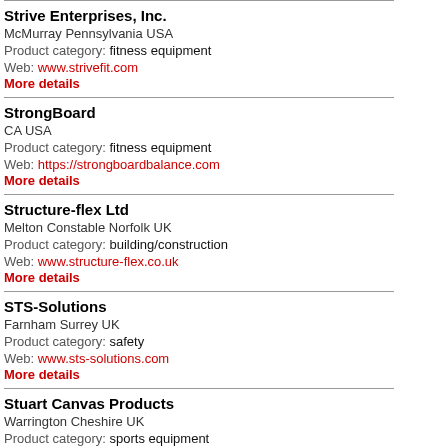Strive Enterprises, Inc.
McMurray Pennsylvania USA
Product category: fitness equipment
Web: www.strivefit.com
More details
StrongBoard
CA USA
Product category: fitness equipment
Web: https://strongboardbalance.com
More details
Structure-flex Ltd
Melton Constable Norfolk UK
Product category: building/construction
Web: www.structure-flex.co.uk
More details
STS-Solutions
Farnham Surrey UK
Product category: safety
Web: www.sts-solutions.com
More details
Stuart Canvas Products
Warrington Cheshire UK
Product category: sports equipment
Web: www.stuartcanvas.co.uk